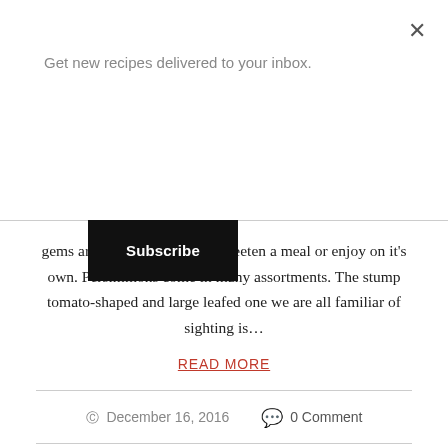Get new recipes delivered to your inbox.
Subscribe
gems are the perfect way to sweeten a meal or enjoy on it's own. Persimmons come in many assortments. The stump tomato-shaped and large leafed one we are all familiar of sighting is…
READ MORE
December 16, 2016   0 Comment
1  2  NEXT